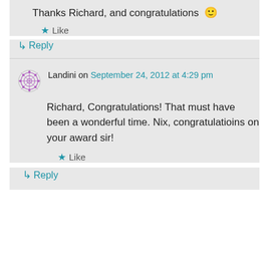Thanks Richard, and congratulations 🙂
Like
↳ Reply
Landini on September 24, 2012 at 4:29 pm
Richard, Congratulations! That must have been a wonderful time. Nix, congratulatioins on your award sir!
Like
↳ Reply